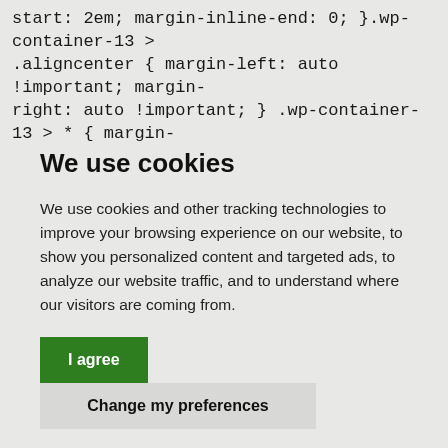start: 2em; margin-inline-end: 0; }.wp-container-13 > .aligncenter { margin-left: auto !important; margin-right: auto !important; } .wp-container-13 > * { margin-
We use cookies
We use cookies and other tracking technologies to improve your browsing experience on our website, to show you personalized content and targeted ads, to analyze our website traffic, and to understand where our visitors are coming from.
I agree
Change my preferences